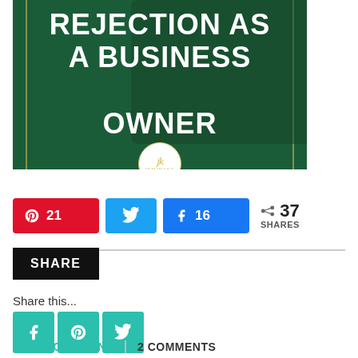[Figure (illustration): Dark green promotional image with white bold uppercase text reading 'REJECTION AS A BUSINESS OWNER', with a laptop keyboard visible in the background and a circular logo badge at the bottom center]
21 [Pinterest button] [Twitter button] 16 [Facebook button] < 37 SHARES
SHARE
Share this...
ADD A COMMENT | 2 COMMENTS